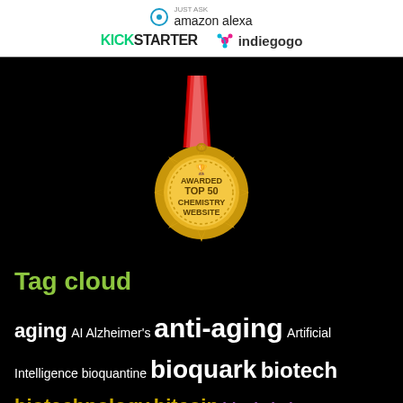[Figure (logo): Amazon Alexa, Kickstarter, and Indiegogo logos on white background]
[Figure (illustration): Gold award medal with red ribbon reading AWARDED TOP 50 CHEMISTRY WEBSITE]
Tag cloud
aging AI Alzheimer's anti-aging Artificial Intelligence bioquantine bioquark biotech biotechnology bitcoin blockchain brain death